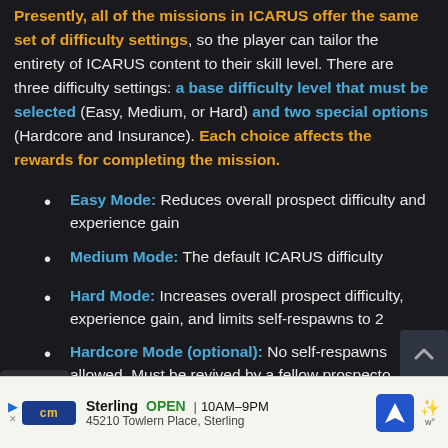Presently, all of the missions in ICARUS offer the same set of difficulty settings, so the player can tailor the entirety of ICARUS content to their skill level. There are three difficulty settings: a base difficulty level that must be selected (Easy, Medium, or Hard) and two special options (Hardcore and Insurance). Each choice affects the rewards for completing the mission.
Easy Mode: Reduces overall prospect difficulty and experience gain
Medium Mode: The default ICARUS difficulty
Hard Mode: Increases overall prospect difficulty, experience gain, and limits self-respawns to 2
Hardcore Mode (optional): No self-respawns allowed. Must be revived by a fellow prospector
[Figure (other): Advertisement banner: CM Crocs store, Sterling, OPEN 10AM-9PM, 45210 Towlern Place, Sterling]
[Figure (other): Numbered list icon widget on sidebar]